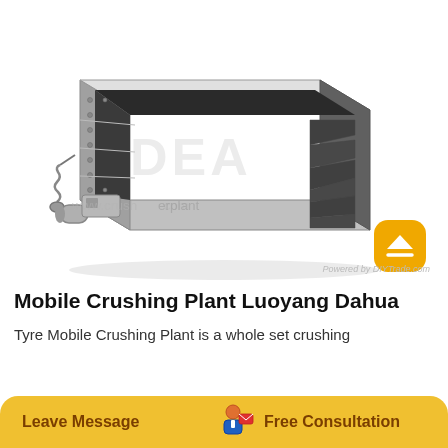[Figure (photo): Industrial jaw crusher / mobile crushing plant machine shown in a 3D perspective view. The machine is metallic grey/dark, with a rectangular hopper at the top, side panels, spring mechanism visible on the left side, and diagonal crusher plates/teeth visible on the right. Watermark text 'DEA' and URL 'www.crush[...].com' overlaid on the image.]
Powered by DIYTrade.com
Mobile Crushing Plant Luoyang Dahua
Tyre Mobile Crushing Plant is a whole set crushing
Leave Message   Free Consultation